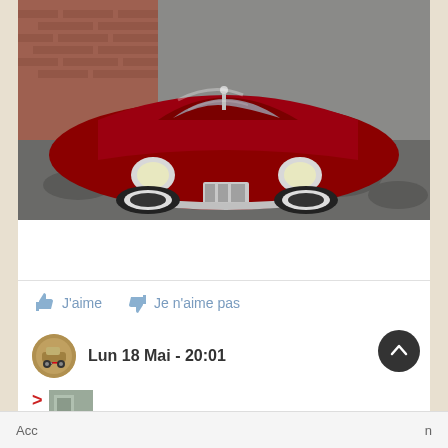[Figure (photo): Vintage red classic car (convertible, 1950s style) photographed from above/front on a cracked asphalt surface, next to a brick wall. The car is deep burgundy/red with chrome grille, white-wall tires, and round headlights.]
J'aime   Je n'aime pas
Lun 18 Mai - 20:01